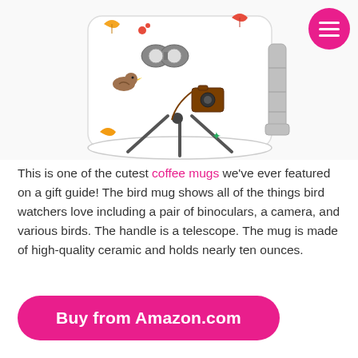[Figure (photo): A white ceramic coffee mug with bird-watching themed illustrations including binoculars, a camera, birds, and colorful leaves. The handle is shaped like a telescope. Photographed on a white background.]
This is one of the cutest coffee mugs we've ever featured on a gift guide! The bird mug shows all of the things bird watchers love including a pair of binoculars, a camera, and various birds. The handle is a telescope. The mug is made of high-quality ceramic and holds nearly ten ounces.
Buy from Amazon.com